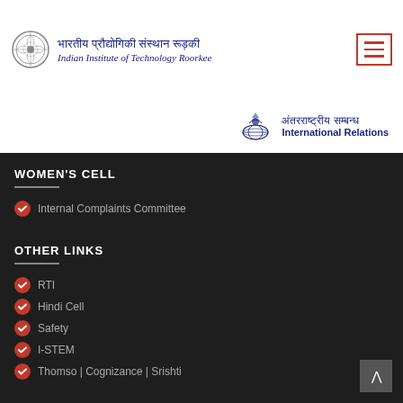[Figure (logo): IIT Roorkee logo with circular emblem and text in Hindi: भारतीय प्रौद्योगिकी संस्थान रूड़की and English: Indian Institute of Technology Roorkee]
[Figure (logo): International Relations logo with globe icon and text in Hindi: अंतरराष्ट्रीय सम्बन्ध and English: International Relations]
WOMEN'S CELL
Internal Complaints Committee
OTHER LINKS
RTI
Hindi Cell
Safety
I-STEM
Thomso | Cognizance | Srishti